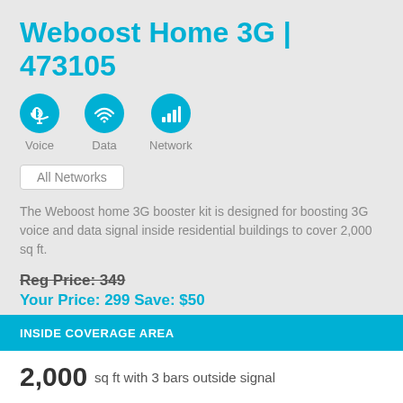Weboost Home 3G | 473105
[Figure (infographic): Three teal circular icons representing Voice (speaker/sound icon), Data (wifi icon), and Network (signal bars icon) with labels below each.]
All Networks
The Weboost home 3G booster kit is designed for boosting 3G voice and data signal inside residential buildings to cover 2,000 sq ft.
Reg Price: 349
Your Price: 299 Save: $50
Add to Cart
INSIDE COVERAGE AREA
2,000 sq ft with 3 bars outside signal